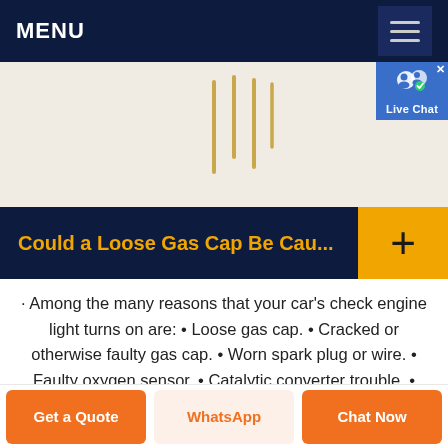MENU
[Figure (screenshot): Partial webpage screenshot with decorative vertical lines on a beige/cream background, and a Live Chat bubble in the top-right corner]
Could a Loose Gas Cap Be Cau...
· Among the many reasons that your car's check engine light turns on are: • Loose gas cap. • Cracked or otherwise faulty gas cap. • Worn spark plug or wire. • Faulty oxygen sensor. • Catalytic converter trouble. • Faulty
Get a Quote | WhatsApp | Chat Now